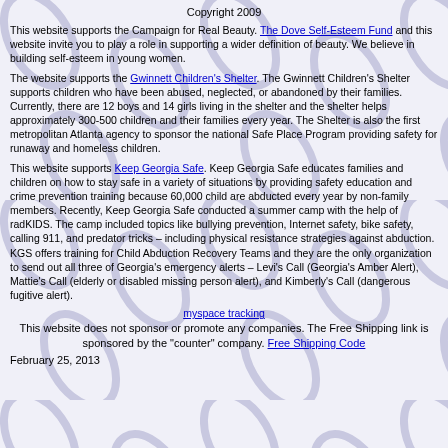Copyright 2009
This website supports the Campaign for Real Beauty. The Dove Self-Esteem Fund and this website invite you to play a role in supporting a wider definition of beauty. We believe in building self-esteem in young women.
The website supports the Gwinnett Children's Shelter. The Gwinnett Children's Shelter supports children who have been abused, neglected, or abandoned by their families. Currently, there are 12 boys and 14 girls living in the shelter and the shelter helps approximately 300-500 children and their families every year. The Shelter is also the first metropolitan Atlanta agency to sponsor the national Safe Place Program providing safety for runaway and homeless children.
This website supports Keep Georgia Safe. Keep Georgia Safe educates families and children on how to stay safe in a variety of situations by providing safety education and crime prevention training because 60,000 child are abducted every year by non-family members. Recently, Keep Georgia Safe conducted a summer camp with the help of radKIDS. The camp included topics like bullying prevention, Internet safety, bike safety, calling 911, and predator tricks – including physical resistance strategies against abduction. KGS offers training for Child Abduction Recovery Teams and they are the only organization to send out all three of Georgia's emergency alerts – Levi's Call (Georgia's Amber Alert), Mattie's Call (elderly or disabled missing person alert), and Kimberly's Call (dangerous fugitive alert).
[Figure (other): myspace tracking image/link]
This website does not sponsor or promote any companies. The Free Shipping link is sponsored by the "counter" company. Free Shipping Code
February 25, 2013